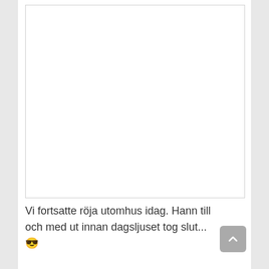[Figure (photo): A blank white rectangular image placeholder with a thin gray border, occupying the upper portion of the page.]
Vi fortsatte röja utomhus idag. Hann till och med ut innan dagsljuset tog slut... 😎